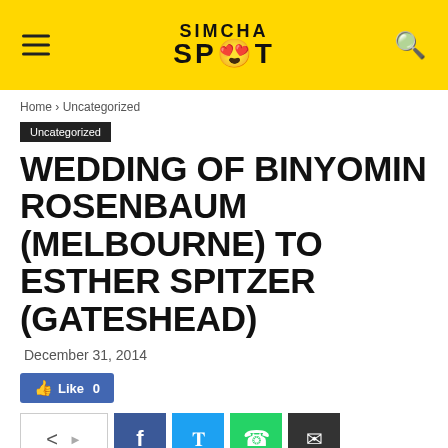SIMCHA SPOT
Home › Uncategorized
Uncategorized
WEDDING OF BINYOMIN ROSENBAUM (MELBOURNE) TO ESTHER SPITZER (GATESHEAD)
December 31, 2014
Like 0
[Figure (other): Social share buttons: share (native), Facebook, Twitter, WhatsApp, Email]